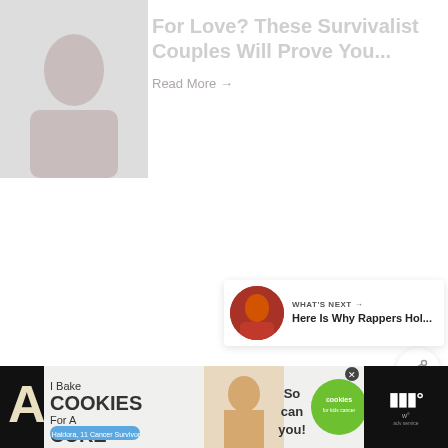[Figure (photo): Article thumbnail photo showing a couple, faded/light toned]
For Love? These Survivalist Couples Will Prove You...
Read More →
[Figure (illustration): Purple circle heart/favorite button icon]
[Figure (illustration): White circle share button icon]
[Figure (illustration): What's Next card with thumbnail and text: Here Is Why Rappers Hol...]
[Figure (illustration): Advertisement banner: I Bake COOKIES For A CURE - So can you! cookies for kids cancer with close button]